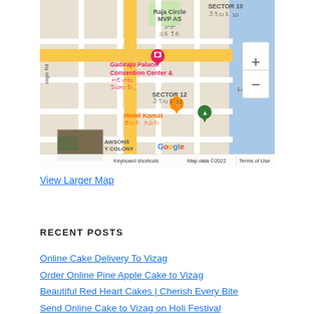[Figure (map): Google Maps screenshot showing area around Gadiraju Palace Convention Center, Hotel Kamat, Sector 10, Sector 12, AWSONS Y COLONY in Vizag. Includes zoom controls (+/-), Google logo, and footer with 'Keyboard shortcuts', 'Map data ©2022', 'Terms of Use'.]
View Larger Map
RECENT POSTS
Online Cake Delivery To Vizag
Order Online Pine Apple Cake to Vizag
Beautiful Red Heart Cakes | Cherish Every Bite
Send Online Cake to Vizag on Holi Festival
BIRTHDAY PARTY CAKE – MILKY MILLION 5KG